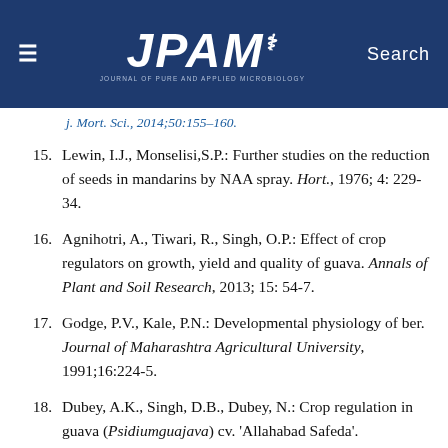≡  JPAM  Search
15. Lewin, I.J., Monselisi,S.P.: Further studies on the reduction of seeds in mandarins by NAA spray. Hort., 1976; 4: 229-34.
16. Agnihotri, A., Tiwari, R., Singh, O.P.: Effect of crop regulators on growth, yield and quality of guava. Annals of Plant and Soil Research, 2013; 15: 54-7.
17. Godge, P.V., Kale, P.N.: Developmental physiology of ber. Journal of Maharashtra Agricultural University, 1991;16:224-5.
18. Dubey, A.K., Singh, D.B., Dubey, N.: Crop regulation in guava (Psidiumguajava) cv. 'Allahabad Safeda'. Progressive Horticulture, 2002;34: 200-3.
19. Garasiya, V.R., Patel, N.M., Bhadauria, H.S.,